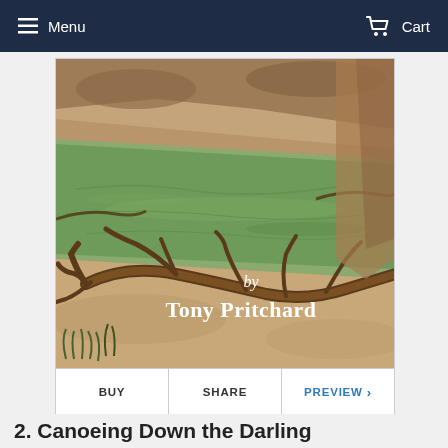Menu   Cart
[Figure (photo): Book cover showing a river scene with fallen logs, sandy banks, and greenish water. Text overlay reads 'by Tony Pritchard' in a decorative font against the landscape photo.]
BUY   SHARE   PREVIEW >
2. Canoeing Down the Darling